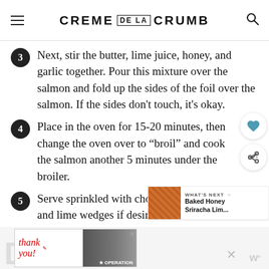CREME DE LA CRUMB
Next, stir the butter, lime juice, honey, and garlic together. Pour this mixture over the salmon and fold up the sides of the foil over the salmon. If the sides don't touch, it's okay.
Place in the oven for 15-20 minutes, then change the oven over to “broil” and cook the salmon another 5 minutes under the broiler.
Serve sprinkled with chopped cilantro and lime wedges if desired.
[Figure (screenshot): WHAT'S NEXT banner with food photo and text 'Baked Honey Sriracha Lim...']
[Figure (photo): Advertisement banner showing 'thank you' text with people and Operation Gratitude logo]